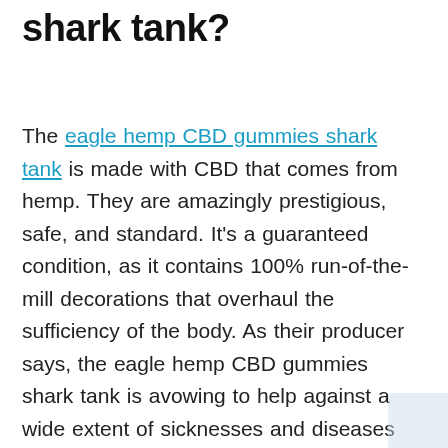shark tank?
The eagle hemp CBD gummies shark tank is made with CBD that comes from hemp. They are amazingly prestigious, safe, and standard. It's a guaranteed condition, as it contains 100% run-of-the-mill decorations that overhaul the sufficiency of the body. As their producer says, the eagle hemp CBD gummies shark tank is avowing to help against a wide extent of sicknesses and diseases like migraines, nervousness, stress, restlessness, and other wellbeing-related issues. This is on the grounds that their decorations are gotten and unadulterated. The potential gain of this thing is that it doesn't lay out an inclination and has